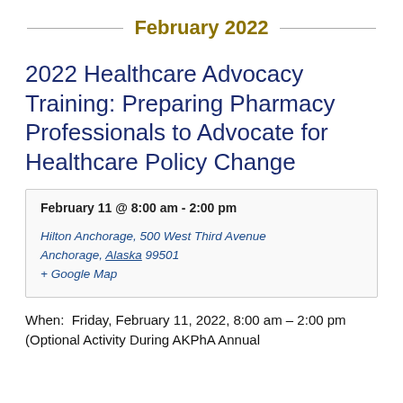February 2022
2022 Healthcare Advocacy Training: Preparing Pharmacy Professionals to Advocate for Healthcare Policy Change
February 11 @ 8:00 am - 2:00 pm
Hilton Anchorage, 500 West Third Avenue
Anchorage, Alaska 99501
+ Google Map
When:  Friday, February 11, 2022, 8:00 am – 2:00 pm (Optional Activity During AKPhA Annual